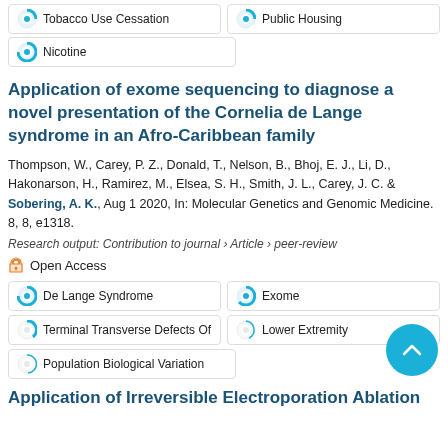Tobacco Use Cessation
Public Housing
Nicotine
Application of exome sequencing to diagnose a novel presentation of the Cornelia de Lange syndrome in an Afro-Caribbean family
Thompson, W., Carey, P. Z., Donald, T., Nelson, B., Bhoj, E. J., Li, D., Hakonarson, H., Ramirez, M., Elsea, S. H., Smith, J. L., Carey, J. C. & Sobering, A. K., Aug 1 2020, In: Molecular Genetics and Genomic Medicine. 8, 8, e1318.
Research output: Contribution to journal › Article › peer-review
Open Access
De Lange Syndrome
Exome
Terminal Transverse Defects Of
Lower Extremity
Population Biological Variation
Application of Irreversible Electroporation Ablation